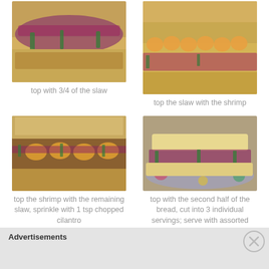[Figure (photo): Open sub roll topped with purple cabbage slaw and green pepper strips]
top with 3/4 of the slaw
[Figure (photo): Open sub roll topped with slaw and grilled shrimp arranged in a row]
top the slaw with the shrimp
[Figure (photo): Open sub sandwich showing shrimp topped with remaining slaw, herbs and peppers]
top the shrimp with the remaining slaw, sprinkle with 1 tsp chopped cilantro
[Figure (photo): Completed shrimp sub sandwich on decorative plate]
top with the second half of the bread, cut into 3 individual servings; serve with assorted marinated
Advertisements